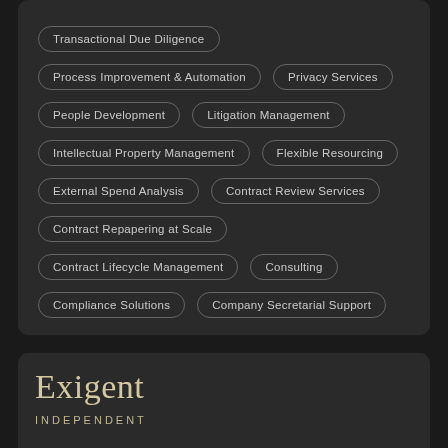Transactional Due Diligence
Process Improvement & Automation
Privacy Services
People Development
Litigation Management
Intellectual Property Management
Flexible Resourcing
External Spend Analysis
Contract Review Services
Contract Repapering at Scale
Contract Lifecycle Management
Consulting
Compliance Solutions
Company Secretarial Support
Exigent
INDEPENDENT